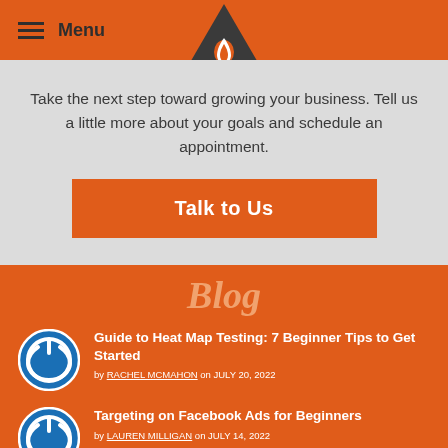Menu
Take the next step toward growing your business. Tell us a little more about your goals and schedule an appointment.
Talk to Us
Blog
Guide to Heat Map Testing: 7 Beginner Tips to Get Started
by RACHEL MCMAHON on JULY 20, 2022
Targeting on Facebook Ads for Beginners
by LAUREN MILLIGAN on JULY 14, 2022